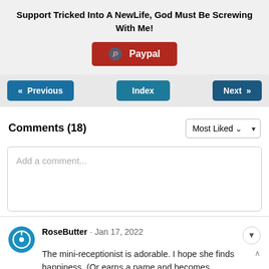Support Tricked Into A NewLife, God Must Be Screwing With Me!
[Figure (other): Paypal donation button (red rounded rectangle with PayPal icon and text 'Paypal')]
« Previous
Index
Next »
Comments (18)
Most Liked (dropdown selector)
Add a comment...
RoseButter · Jan 17, 2022
The mini-receptionist is adorable. I hope she finds happiness. (Or earns a name and becomes